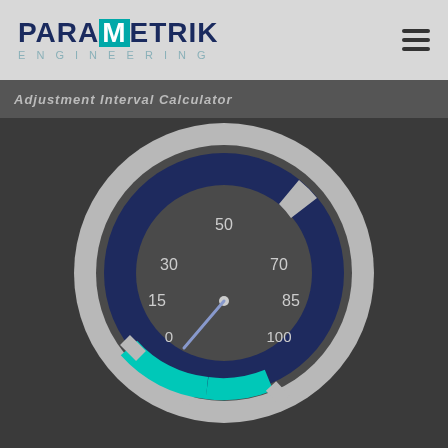PARAMETRIK Engineering
[Figure (other): Circular gauge/dial instrument showing scale values 0, 15, 30, 50, 70, 85, 100 with a needle pointing near 15, dark navy blue ring, teal/cyan accent arc at bottom, dark grey face, light grey outer ring. Parametrik Engineering branded UI component.]